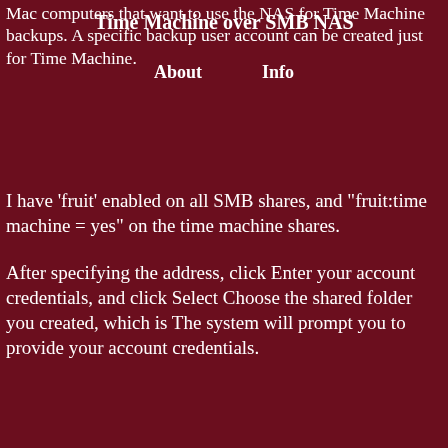Mac computers that want to use the NAS for Time Machine backups. A specific backup user account can be created just for Time Machine.
Time Machine over SMB NAS
About    Info
I have 'fruit' enabled on all SMB shares, and "fruit:time machine = yes" on the time machine shares.
After specifying the address, click Enter your account credentials, and click Select Choose the shared folder you created, which is The system will prompt you to provide your account credentials.